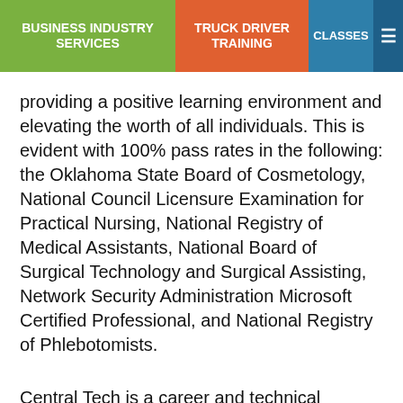BUSINESS INDUSTRY SERVICES | TRUCK DRIVER TRAINING | CLASSES | ≡
providing a positive learning environment and elevating the worth of all individuals. This is evident with 100% pass rates in the following: the Oklahoma State Board of Cosmetology, National Council Licensure Examination for Practical Nursing, National Registry of Medical Assistants, National Board of Surgical Technology and Surgical Assisting, Network Security Administration Microsoft Certified Professional, and National Registry of Phlebotomists.
Central Tech is a career and technical training center with campuses in Drumright and Sapulpa. Central Tech offers hundreds of career choices in either full-time or short-term courses, with certifications and licensure available in most areas of study. Central Tech also assistance to area businesses with safety training.